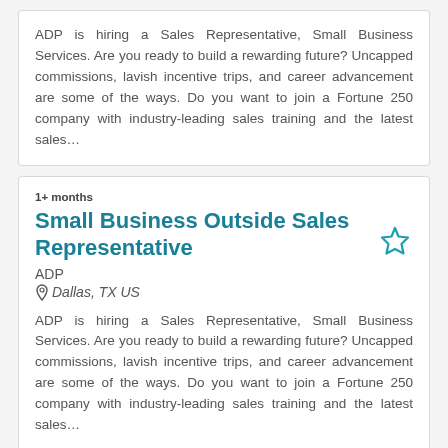ADP is hiring a Sales Representative, Small Business Services. Are you ready to build a rewarding future? Uncapped commissions, lavish incentive trips, and career advancement are some of the ways. Do you want to join a Fortune 250 company with industry-leading sales training and the latest sales…
1+ months
Small Business Outside Sales Representative
ADP
Dallas, TX US
ADP is hiring a Sales Representative, Small Business Services. Are you ready to build a rewarding future? Uncapped commissions, lavish incentive trips, and career advancement are some of the ways. Do you want to join a Fortune 250 company with industry-leading sales training and the latest sales…
1+ months